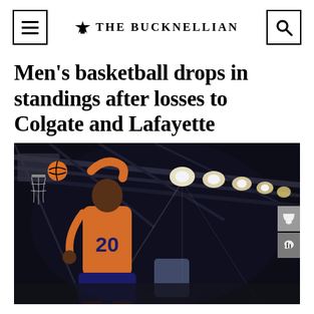THE BUCKNELLIAN
Men's basketball drops in standings after losses to Colgate and Lafayette
[Figure (photo): A basketball player wearing orange jersey number 20 dunking the ball through the net in an indoor arena with bright overhead lights and steel beam ceiling visible in the background.]